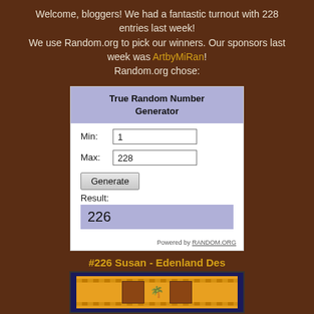Welcome, bloggers! We had a fantastic turnout with 228 entries last week!
We use Random.org to pick our winners. Our sponsors last week was ArtbyMiRan!
Random.org chose:
[Figure (screenshot): True Random Number Generator screenshot showing Min: 1, Max: 228, Generate button, Result: 226, Powered by RANDOM.ORG]
#226 Susan - Edenland Des
[Figure (photo): Partial photo of a craft/art piece with orange background, decorative stripes, and palm tree motif on dark blue border]